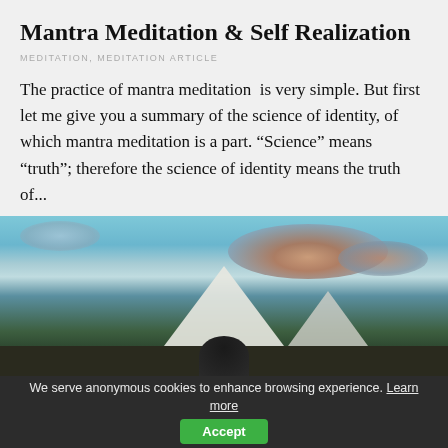Mantra Meditation & Self Realization
MEDITATION, MEDITATION ARTICLE
The practice of mantra meditation  is very simple. But first let me give you a summary of the science of identity, of which mantra meditation is a part. “Science” means “truth”; therefore the science of identity means the truth of...
[Figure (photo): Panoramic mountain landscape with dramatic clouds at sunset, dark silhouetted figure in foreground]
We serve anonymous cookies to enhance browsing experience. Learn more  Accept